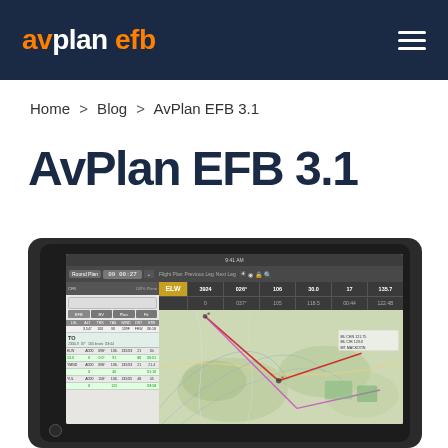avplan efb
Home > Blog > AvPlan EFB 3.1
AvPlan EFB 3.1
[Figure (screenshot): Screenshot of AvPlan EFB 3.1 app displayed on an iPad, showing a flight planning interface with a navigation map on the right side and flight data panels on the left. The map displays aeronautical chart data with route lines (red and pink/magenta) overlaid. The left panel shows flight plan data including waypoints like ELW, with columns for altitude, time, and frequency. A time display shows 09:00:27.]